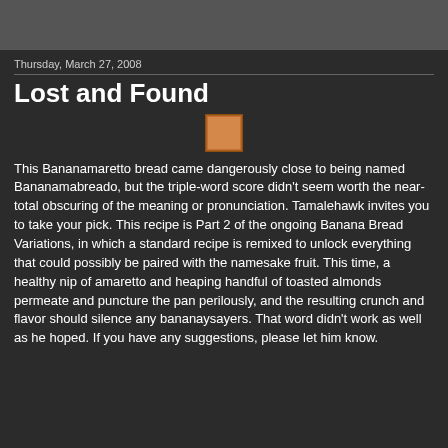Thursday, March 27, 2008
Lost and Found
[Figure (photo): Small square thumbnail image placeholder with orange/brown color]
This Bananamaretto bread came dangerously close to being named Bananamabreado, but the triple-word score didn't seem worth the near-total obscuring of the meaning or pronunciation. Tamalehawk invites you to take your pick. This recipe is Part 2 of the ongoing Banana Bread Variations, in which a standard recipe is remixed to unlock everything that could possibly be paired with the namesake fruit. This time, a healthy nip of amaretto and heaping handful of toasted almonds permeate and puncture the pan perilously, and the resulting crunch and flavor should silence any bananaysayers. That word didn't work as well as he hoped. If you have any suggestions, please let him know.
Tamalehawk also loves...